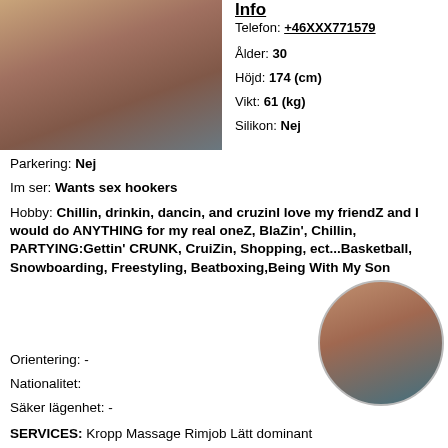[Figure (photo): Photo of a person in pink top]
Info
Telefon: +46XXX771579
Ålder: 30
Höjd: 174 (cm)
Vikt: 61 (kg)
Silikon: Nej
Parkering: Nej
Im ser: Wants sex hookers
Hobby: Chillin, drinkin, dancin, and cruzinI love my friendZ and I would do ANYTHING for my real oneZ, BlaZin', Chillin, PARTYING:Gettin' CRUNK, CruiZin, Shopping, ect...Basketball, Snowboarding, Freestyling, Beatboxing,Being With My Son
Orientering: -
Nationalitet:
Säker lägenhet: -
[Figure (photo): Circular photo of a person in teal top]
SERVICES: Kropp Massage Rimjob Lätt dominant